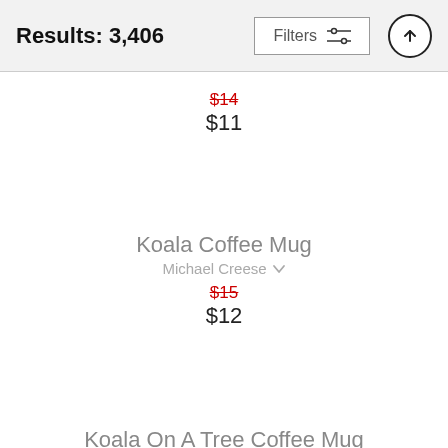Results: 3,406
Filters
$14 (strikethrough) $11
Koala Coffee Mug
Michael Creese
$15 (strikethrough) $12
Koala On A Tree Coffee Mug
Animal Images